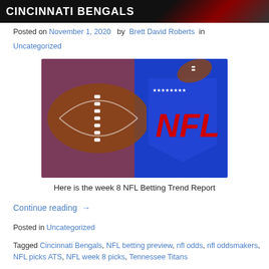CINCINNATI BENGALS
Posted on November 1, 2020  by  Brett David Roberts  in Uncategorized
[Figure (photo): NFL logo with football on blue background]
Here is the week 8 NFL Betting Trend Report
Continue reading →
Posted in Uncategorized
Tagged Cincinnati Bengals, NFL betting preview, nfl odds, nfl oddsmakers, NFL picks ATS, NFL week 8 picks, Tennessee Titans